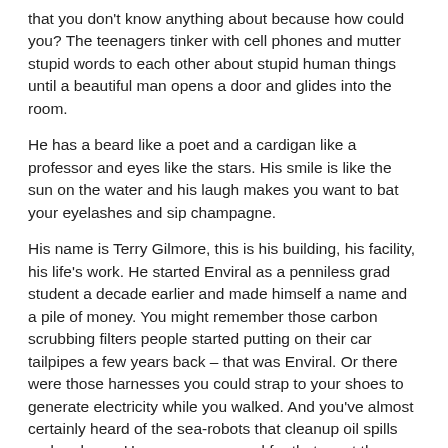that you don't know anything about because how could you? The teenagers tinker with cell phones and mutter stupid words to each other about stupid human things until a beautiful man opens a door and glides into the room.
He has a beard like a poet and a cardigan like a professor and eyes like the stars. His smile is like the sun on the water and his laugh makes you want to bat your eyelashes and sip champagne.
His name is Terry Gilmore, this is his building, his facility, his life's work. He started Enviral as a penniless grad student a decade earlier and made himself a name and a pile of money. You might remember those carbon scrubbing filters people started putting on their car tailpipes a few years back – that was Enviral. Or there were those harnesses you could strap to your shoes to generate electricity while you walked. And you've almost certainly heard of the sea-robots that cleanup oil spills and garbage. He won some award for that – not the Nobel prize – one named after some other dead white guy you've never heard of.
“Welcome!” He says, clasping his hands in front of him. “I’m so glad you could come to visit!” he says, gesturing for the class to